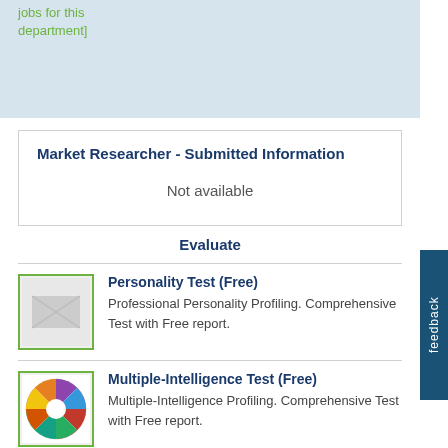jobs for this department]
Market Researcher - Submitted Information
Not available
Evaluate
[Figure (illustration): Broken image thumbnail with green border for Personality Test]
Personality Test (Free)
Professional Personality Profiling. Comprehensive Test with Free report.
[Figure (illustration): Circular multiple-intelligence wheel diagram with colorful segments, green border]
Multiple-Intelligence Test (Free)
Multiple-Intelligence Profiling. Comprehensive Test with Free report.